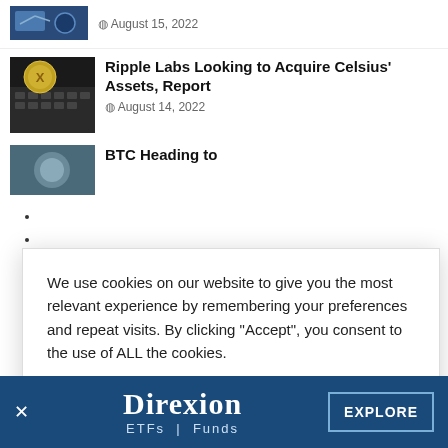[Figure (photo): Thumbnail image for top article, dark blue/tech themed]
August 15, 2022
[Figure (photo): Thumbnail image showing coin on keyboard, dark background]
Ripple Labs Looking to Acquire Celsius' Assets, Report
August 14, 2022
We use cookies on our website to give you the most relevant experience by remembering your preferences and repeat visits. By clicking “Accept”, you consent to the use of ALL the cookies.
Do not sell my personal information.
Cookie Settings
Accept
Reject All
BTC Heading to
[Figure (logo): Direxion ETFs | Funds banner advertisement with EXPLORE button]
EXPLORE